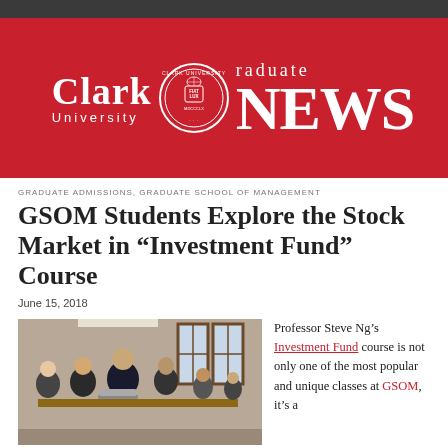Clark University Graduate News
GRADUATE ADMISSIONS, GRADUATE SCHOOL OF MANAGEMENT
GSOM Students Explore the Stock Market in “Investment Fund” Course
June 15, 2018
[Figure (photo): Students sitting in a classroom at Clark University, working on laptops and listening, with large windows in the background.]
Professor Steve Ng’s Investment Fund course is not only one of the most popular and unique classes at GSOM, it’s a